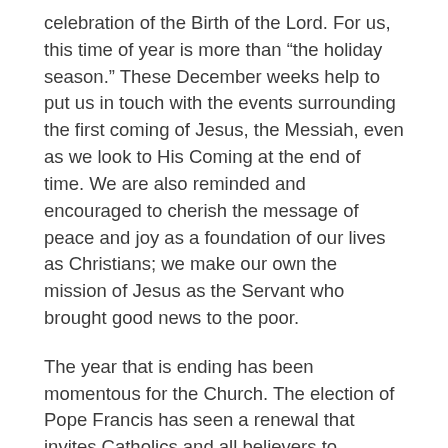celebration of the Birth of the Lord.  For us, this time of year is more than "the holiday season." These December weeks help to put us in touch with the events surrounding the first coming of Jesus, the Messiah, even as we look to His Coming at the end of time. We are also reminded and encouraged to cherish the message of peace and joy as a foundation of our lives as Christians; we make our own the mission of Jesus as the Servant who brought good news to the poor.
The year that is ending has been momentous for the Church.  The election of Pope Francis has seen a renewal that invites Catholics and all believers to rediscover the essential gospel message of mercy, love and forgiveness.  Through the Church's sacraments, each of us has access to the richness of the love that God has for us.
We wish you and your loved ones Advent and Christmas blessings. May the Word Made Flesh bring peace to you